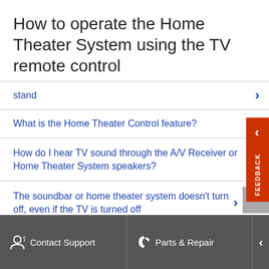How to operate the Home Theater System using the TV remote control
stand
What is the Home Theater Control feature?
How do I hear TV sound through the A/V Receiver or Home Theater System speakers?
The soundbar or home theater system doesn't turn off, even if the TV is turned off
Can't hear TV sound from the soundbar, home theater system or home theater speakers
Contact Support   Parts & Repair